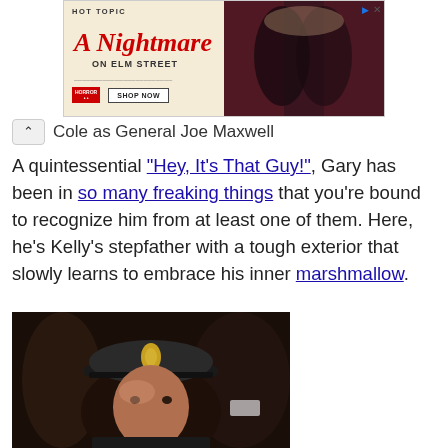[Figure (photo): Hot Topic advertisement banner for 'A Nightmare on Elm Street' merchandise featuring two teens in dark clothing against a red curtain backdrop, with SHOP NOW button]
Cole as General Joe Maxwell
A quintessential "Hey, It's That Guy!", Gary has been in so many freaking things that you're bound to recognize him from at least one of them. Here, he's Kelly's stepfather with a tough exterior that slowly learns to embrace his inner marshmallow.
[Figure (photo): Close-up photo of a young person wearing a dark military/police cap with a gold eagle badge, looking slightly upward]